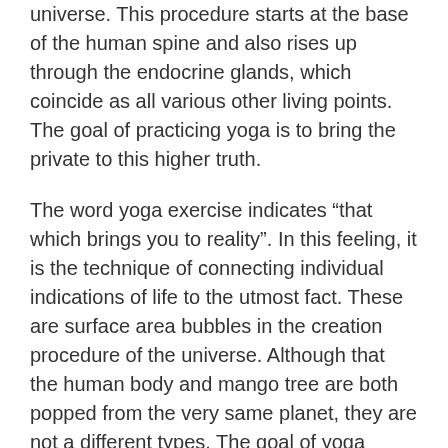universe. This procedure starts at the base of the human spine and also rises up through the endocrine glands, which coincide as all various other living points. The goal of practicing yoga is to bring the private to this higher truth.
The word yoga exercise indicates “that which brings you to reality”. In this feeling, it is the technique of connecting individual indications of life to the utmost fact. These are surface area bubbles in the creation procedure of the universe. Although that the human body and mango tree are both popped from the very same planet, they are not a different types. The goal of yoga exercise is to bring all of these different manifestations together. To put it simply, it is the course to experiential fact.
The word “yoga” literally means “to bring you to truth”. It describes the process of bringing the specific manifestations of life to their ultimate truth. It means that these individual symptoms of life are just surface area bubbles that bulged of the very same earth. The ultimate reality is the experience of this reality.